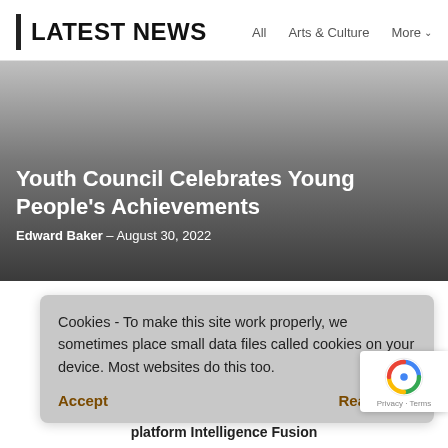LATEST NEWS — All   Arts & Culture   More
[Figure (photo): Dark gradient background image area representing a news article photo]
Youth Council Celebrates Young People's Achievements
Edward Baker - August 30, 2022
Cookies - To make this site work properly, we sometimes place small data files called cookies on your device. Most websites do this too.
Accept    Read more
r Durham ns elligence
platform Intelligence Fusion